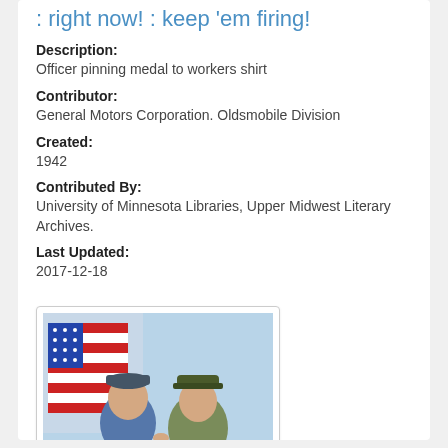: right now! : keep 'em firing!
Description:
Officer pinning medal to workers shirt
Contributor:
General Motors Corporation. Oldsmobile Division
Created:
1942
Contributed By:
University of Minnesota Libraries, Upper Midwest Literary Archives.
Last Updated:
2017-12-18
[Figure (photo): Thumbnail of WWII-era propaganda poster showing officer pinning medal to worker, with text 'Another American Ace! His guns are shooting down Nazis and Japs right now! Keep 'em firing!']